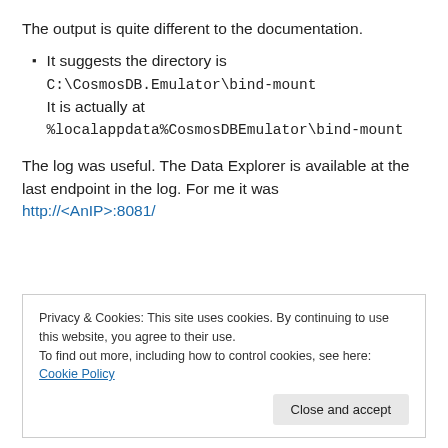The output is quite different to the documentation.
It suggests the directory is C:\CosmosDB.Emulator\bind-mount
It is actually at
%localappdata%CosmosDBEmulator\bind-mount
The log was useful. The Data Explorer is available at the last endpoint in the log. For me it was http://<AnIP>:8081/
Privacy & Cookies: This site uses cookies. By continuing to use this website, you agree to their use.
To find out more, including how to control cookies, see here: Cookie Policy
Close and accept